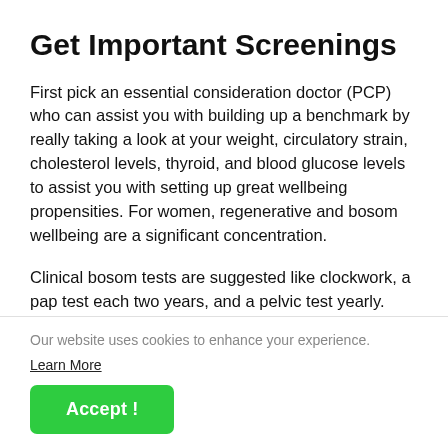Get Important Screenings
First pick an essential consideration doctor (PCP) who can assist you with building up a benchmark by really taking a look at your weight, circulatory strain, cholesterol levels, thyroid, and blood glucose levels to assist you with setting up great wellbeing propensities. For women, regenerative and bosom wellbeing are a significant concentration.
Clinical bosom tests are suggested like clockwork, a pap test each two years, and a pelvic test yearly. Women ought to likewise figure out how to give
Our website uses cookies to enhance your experience.
Learn More
Accept !